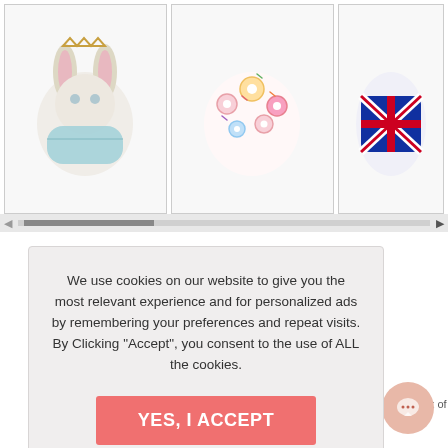[Figure (photo): Three face mask product images in a scrollable row: left - bunny/rabbit themed mask, center - donut/sprinkles pattern mask, right - UK Union Jack flag mask (partially visible)]
view sizing chart [ruler icon]
We use cookies on our website to give you the most relevant experience and for personalized ads by remembering your preferences and repeat visits. By Clicking "Accept", you consent to the use of ALL the cookies.
YES, I ACCEPT
More Info
ask Filters - Pack of 10 for $4.99
[Figure (illustration): Chat support bubble icon in bottom right corner]